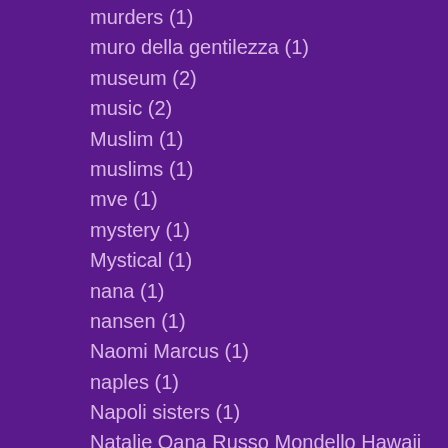murders (1)
muro della gentilezza (1)
museum (2)
music (2)
Muslim (1)
muslims (1)
mve (1)
mystery (1)
Mystical (1)
nana (1)
nansen (1)
Naomi Marcus (1)
naples (1)
Napoli sisters (1)
Natalie Oana Russo Mondello Hawaii Honolulu Jeannin Brigitte Sicily marrow transplant leukemia prayers (1)
national embarassment (1)
national holiday (1)